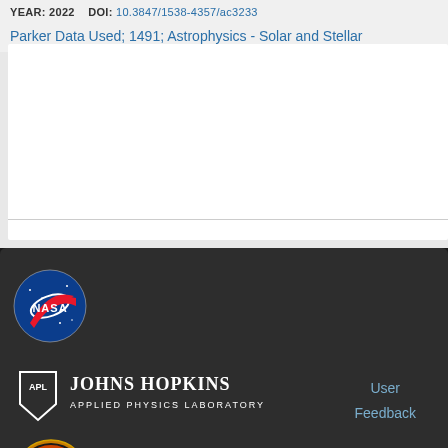YEAR: 2022    DOI: 10.3847/1538-4357/ac3233
Parker Data Used; 1491; Astrophysics - Solar and Stellar
[Figure (logo): NASA meatball logo - blue circular logo with red chevron/swoosh and NASA text in white]
[Figure (logo): Johns Hopkins APL (Applied Physics Laboratory) shield logo with text]
User
Feedback
[Figure (logo): Parker Solar Probe mission patch - circular badge with orange/red solar imagery]